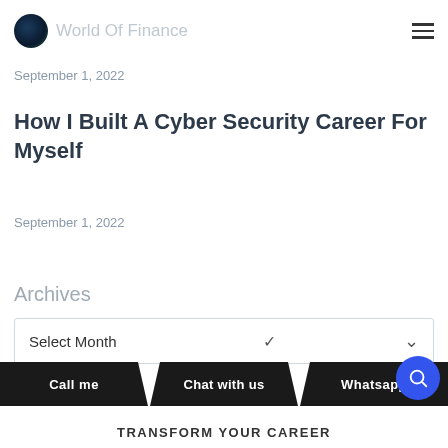World Of Finance
September 1, 2022
How I Built A Cyber Security Career For Myself
September 1, 2022
Archives
Select Month
Call me  Chat with us  Whatsapp  TRANSFORM YOUR CAREER